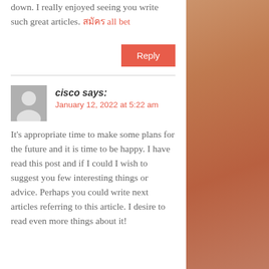down. I really enjoyed seeing you write such great articles. สมัคร all bet
Reply
cisco says: January 12, 2022 at 5:22 am
It's appropriate time to make some plans for the future and it is time to be happy. I have read this post and if I could I wish to suggest you few interesting things or advice. Perhaps you could write next articles referring to this article. I desire to read even more things about it!